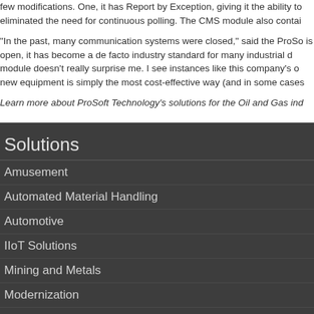few modifications. One, it has Report by Exception, giving it the ability to eliminated the need for continuous polling. The CMS module also contai
"In the past, many communication systems were closed," said the ProSo is open, it has become a de facto industry standard for many industrial d module doesn't really surprise me. I see instances like this company's o new equipment is simply the most cost-effective way (and in some cases
Learn more about ProSoft Technology's solutions for the Oil and Gas ind
Solutions
Amusement
Automated Material Handling
Automotive
IIoT Solutions
Mining and Metals
Modernization
Oil and Gas Solutions
Secure Remote Connectivity